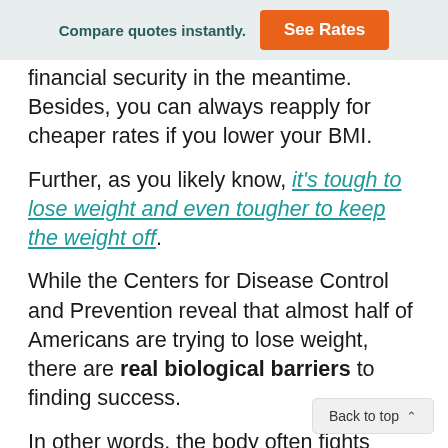Compare quotes instantly.  See Rates
financial security in the meantime. Besides, you can always reapply for cheaper rates if you lower your BMI.
Further, as you likely know, it's tough to lose weight and even tougher to keep the weight off.
While the Centers for Disease Control and Prevention reveal that almost half of Americans are trying to lose weight, there are real biological barriers to finding success.
In other words, the body often fights against our attempts to attain a healthy weight. An individual often has: